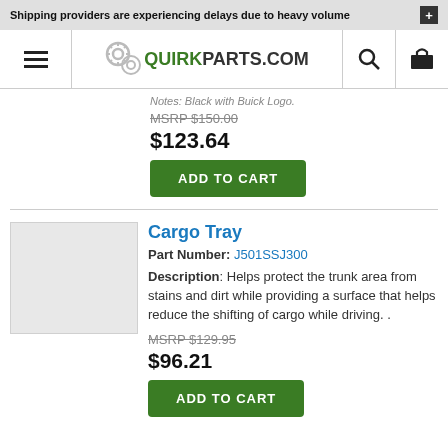Shipping providers are experiencing delays due to heavy volume
[Figure (logo): QuirkParts.com logo with gear icons]
Notes: Black with Buick Logo.
MSRP $150.00
$123.64
ADD TO CART
Cargo Tray
Part Number: J501SSJ300
Description: Helps protect the trunk area from stains and dirt while providing a surface that helps reduce the shifting of cargo while driving. .
MSRP $129.95
$96.21
ADD TO CART